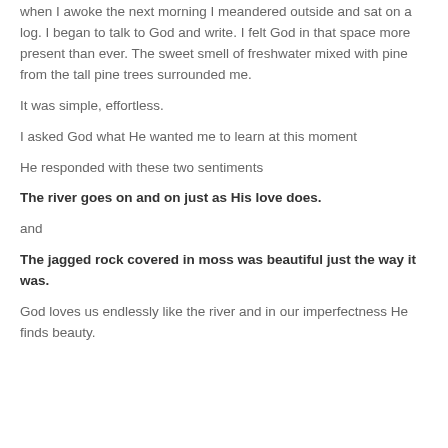when I awoke the next morning I meandered outside and sat on a log. I began to talk to God and write. I felt God in that space more present than ever. The sweet smell of freshwater mixed with pine from the tall pine trees surrounded me.
It was simple, effortless.
I asked God what He wanted me to learn at this moment
He responded with these two sentiments
The river goes on and on just as His love does.
and
The jagged rock covered in moss was beautiful just the way it was.
God loves us endlessly like the river and in our imperfectness He finds beauty.